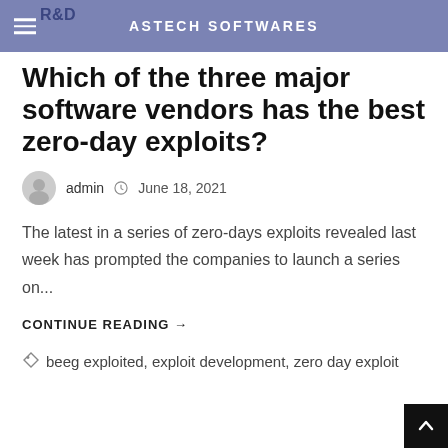ASTECH SOFTWARES
Which of the three major software vendors has the best zero-day exploits?
admin  June 18, 2021
The latest in a series of zero-days exploits revealed last week has prompted the companies to launch a series on...
CONTINUE READING →
beeg exploited, exploit development, zero day exploit